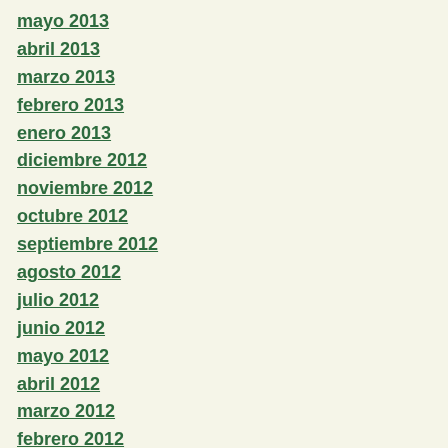mayo 2013
abril 2013
marzo 2013
febrero 2013
enero 2013
diciembre 2012
noviembre 2012
octubre 2012
septiembre 2012
agosto 2012
julio 2012
junio 2012
mayo 2012
abril 2012
marzo 2012
febrero 2012
enero 2012